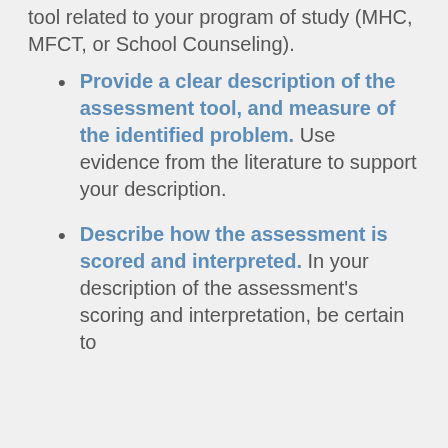tool related to your program of study (MHC, MFCT, or School Counseling).
Provide a clear description of the assessment tool, and measure of the identified problem. Use evidence from the literature to support your description.
Describe how the assessment is scored and interpreted. In your description of the assessment's scoring and interpretation, be certain to